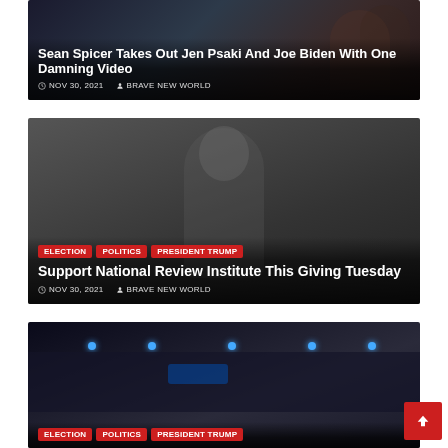[Figure (photo): News article card with photo background showing two people, title overlay: Sean Spicer Takes Out Jen Psaki And Joe Biden With One Damning Video, dated NOV 30, 2021, category BRAVE NEW WORLD]
Sean Spicer Takes Out Jen Psaki And Joe Biden With One Damning Video
NOV 30, 2021   BRAVE NEW WORLD
[Figure (photo): News article card with black and white photo of a man in a suit, tags: ELECTION, POLITICS, PRESIDENT TRUMP, title: Support National Review Institute This Giving Tuesday, dated NOV 30, 2021, category BRAVE NEW WORLD]
Support National Review Institute This Giving Tuesday
NOV 30, 2021   BRAVE NEW WORLD
[Figure (photo): News article card with photo of a building at night with people in foreground, tags: ELECTION, POLITICS, PRESIDENT TRUMP (partially visible)]